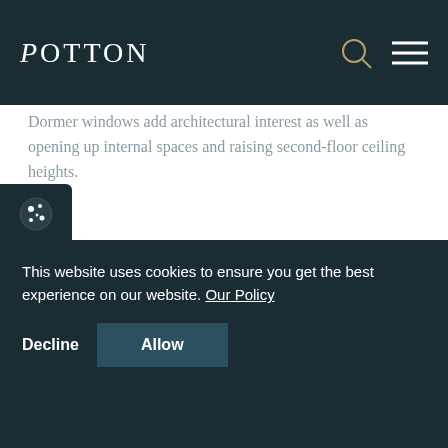POTTON
Dormer windows add architectural interest as well as opening up internal spaces and raising second-floor ceiling heights.
EXPLORE MORE CASE STUDIES
Discover a sample of the homes that we can offer, and
This website uses cookies to ensure you get the best experience on our website. Our Policy
Decline   Allow